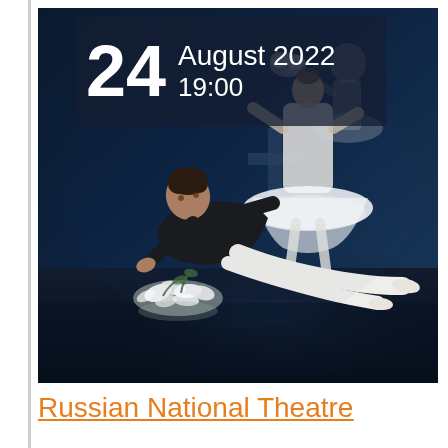[Figure (photo): Ballet performance photo showing two dancers on a dark stage with a cross in the background. A male dancer in black is kneeling/lying on the stage floor next to white flowers (lilies). A female dancer in a white tutu stands behind him. The upper portion shows a semi-transparent overlay of a ballerina holding flowers. The date '24 August 2022 19:00' is overlaid in white text on a dark semi-transparent box in the upper left.]
Russian National Theatre